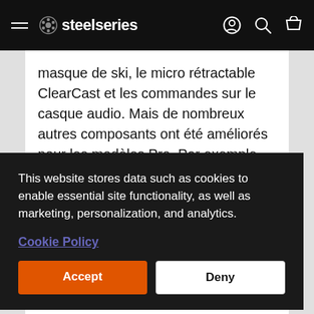SteelSeries
masque de ski, le micro rétractable ClearCast et les commandes sur le casque audio. Mais de nombreaux autres composants ont été améliorés pour les modèles Pro. Par exemple, les transducteurs de l'Arctis Pro sont compatibles avec un son haute-résolution de
This website stores data such as cookies to enable essential site functionality, as well as marketing, personalization, and analytics.
Cookie Policy
Accept
Deny
...rceau ...nts de ...er et le ...teurs. ...sont ...nsi de ...ion pour votre casque Arctis.